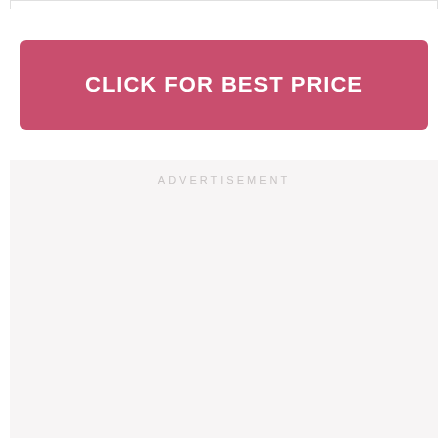[Figure (other): Top border/frame element at the very top of the page]
CLICK FOR BEST PRICE
ADVERTISEMENT